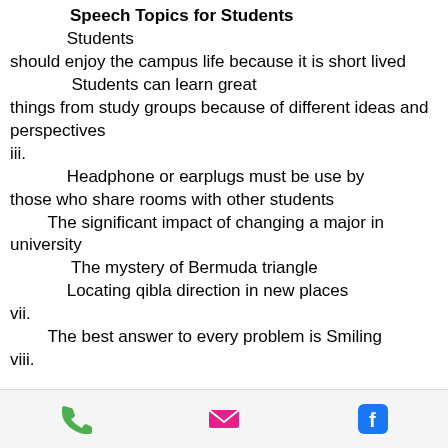Speech Topics for Students
Students should enjoy the campus life because it is short lived
Students can learn great things from study groups because of different ideas and perspectives
iii.
Headphone or earplugs must be use by those who share rooms with other students
The significant impact of changing a major in university
The mystery of Bermuda triangle
Locating qibla direction in new places
vii.
The best answer to every problem is Smiling
viii.
[Figure (other): Mobile app footer bar with phone, email, and Facebook icons]